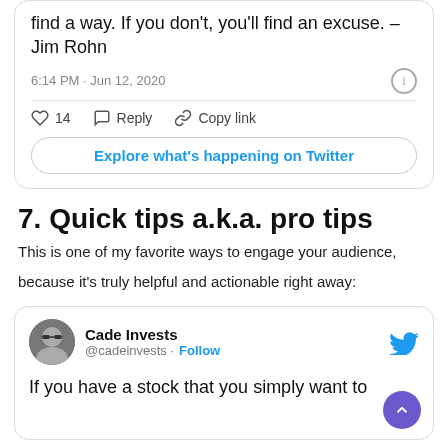[Figure (screenshot): Top portion of a Twitter/X tweet card showing text 'find a way. If you don't, you'll find an excuse. – Jim Rohn', timestamp '6:14 PM · Jun 12, 2020', action buttons with 14 likes, Reply, Copy link, and an 'Explore what's happening on Twitter' button.]
7. Quick tips a.k.a. pro tips
This is one of my favorite ways to engage your audience,
because it's truly helpful and actionable right away:
[Figure (screenshot): Twitter card for Cade Invests (@cadeinvests) with Follow link and tweet beginning 'If you have a stock that you simply want to']